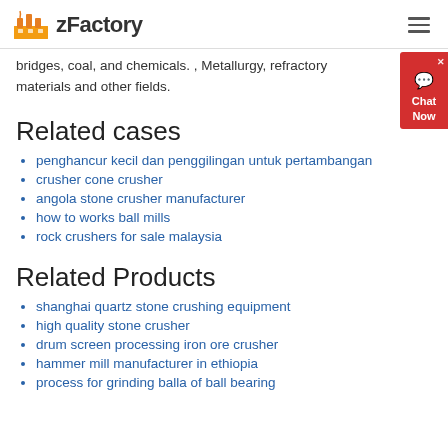zFactory
bridges, coal, and chemicals. , Metallurgy, refractory materials and other fields.
Related cases
penghancur kecil dan penggilingan untuk pertambangan
crusher cone crusher
angola stone crusher manufacturer
how to works ball mills
rock crushers for sale malaysia
Related Products
shanghai quartz stone crushing equipment
high quality stone crusher
drum screen processing iron ore crusher
hammer mill manufacturer in ethiopia
process for grinding balla of ball bearing